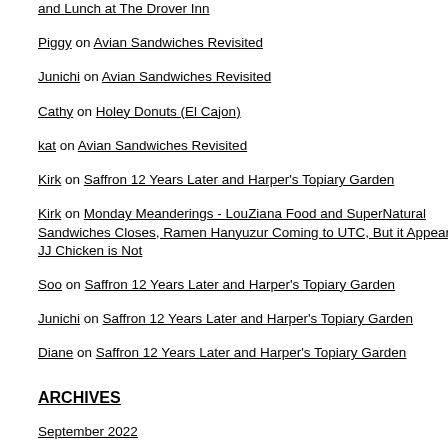and Lunch at The Drover Inn
Piggy on Avian Sandwiches Revisited
Junichi on Avian Sandwiches Revisited
Cathy on Holey Donuts (El Cajon)
kat on Avian Sandwiches Revisited
Kirk on Saffron 12 Years Later and Harper's Topiary Garden
Kirk on Monday Meanderings - LouZiana Food and SuperNatural Sandwiches Closes, Ramen Hanyuzur Coming to UTC, But it Appears JJ Chicken is Not
Soo on Saffron 12 Years Later and Harper's Topiary Garden
Junichi on Saffron 12 Years Later and Harper's Topiary Garden
Diane on Saffron 12 Years Later and Harper's Topiary Garden
ARCHIVES
September 2022
After checking in; you wait and eventually b
[Figure (photo): Gray placeholder image area in right column]